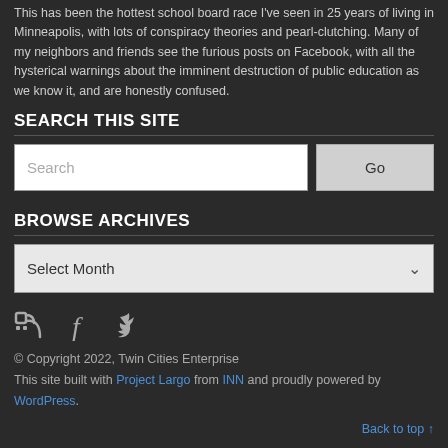This has been the hottest school board race I've seen in 25 years of living in Minneapolis, with lots of conspiracy theories and pearl-clutching. Many of my neighbors and friends see the furious posts on Facebook, with all the hysterical warnings about the imminent destruction of public education as we know it, and are honestly confused.
SEARCH THIS SITE
BROWSE ARCHIVES
[Figure (infographic): Social media icons: RSS feed icon, Facebook icon, Twitter bird icon]
© Copyright 2022, Twin Cities Enterprise
This site built with Project Largo from INN and proudly powered by WordPress.
Back to top ↑